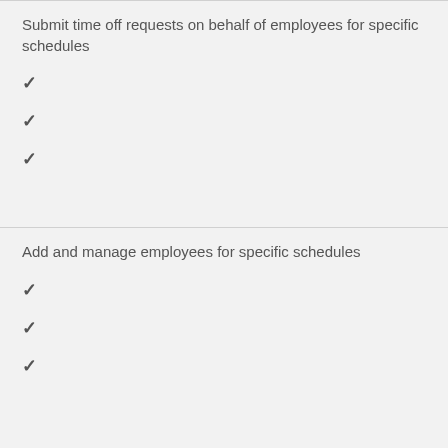Submit time off requests on behalf of employees for specific schedules
✓
✓
✓
Add and manage employees for specific schedules
✓
✓
✓
Add and manage job sites for specific schedules